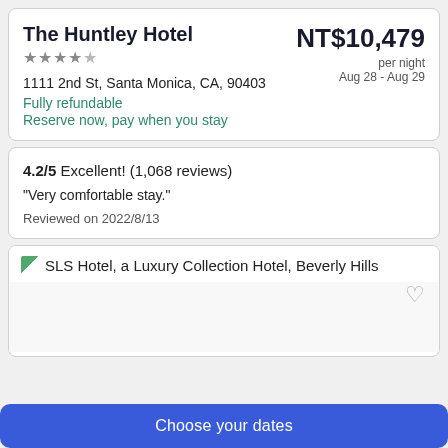The Huntley Hotel
★★★★½
1111 2nd St, Santa Monica, CA, 90403
Fully refundable
Reserve now, pay when you stay
NT$10,479 per night Aug 28 - Aug 29
4.2/5 Excellent! (1,068 reviews)
"Very comfortable stay."
Reviewed on 2022/8/13
SLS Hotel, a Luxury Collection Hotel, Beverly Hills
Choose your dates